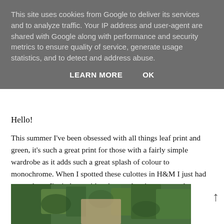This site uses cookies from Google to deliver its services and to analyze traffic. Your IP address and user-agent are shared with Google along with performance and security metrics to ensure quality of service, generate usage statistics, and to detect and address abuse.
LEARN MORE    OK
Hello!
This summer I've been obsessed with all things leaf print and green, it's such a great print for those with a fairly simple wardrobe as it adds such a great splash of colour to monochrome. When I spotted these culottes in H&M I just had to get them. I'm in love with culottes- they just ooze style.
[Figure (photo): Partial photo of a person standing in front of green foliage/leaves, only top portion visible]